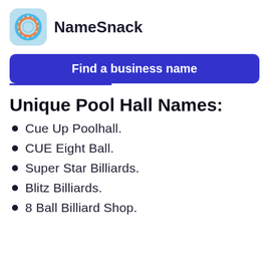[Figure (logo): NameSnack logo: donut icon in a light blue rounded square, with bold text 'NameSnack' to the right]
[Figure (other): Blue rounded rectangle button with white bold text 'Find a business name']
Unique Pool Hall Names:
Cue Up Poolhall.
CUE Eight Ball.
Super Star Billiards.
Blitz Billiards.
8 Ball Billiard Shop.